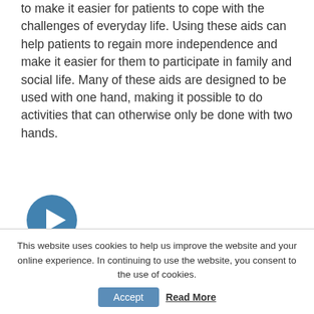to make it easier for patients to cope with the challenges of everyday life. Using these aids can help patients to regain more independence and make it easier for them to participate in family and social life. Many of these aids are designed to be used with one hand, making it possible to do activities that can otherwise only be done with two hands.
[Figure (other): Blue circular play button icon]
COOKING AND EATING
This website uses cookies to help us improve the website and your online experience. In continuing to use the website, you consent to the use of cookies.